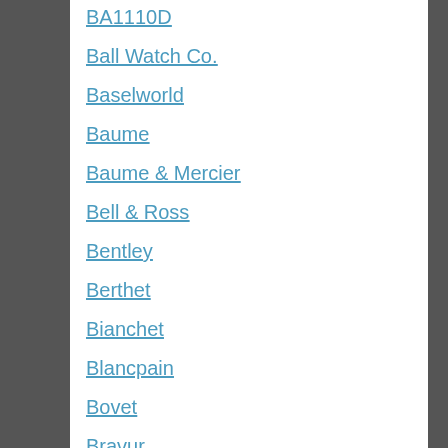BA1110D
Ball Watch Co.
Baselworld
Baume
Baume & Mercier
Bell & Ross
Bentley
Berthet
Bianchet
Blancpain
Bovet
Bravur
Breguet
Breitling
Bremont
Breva
Buben & Zörweg